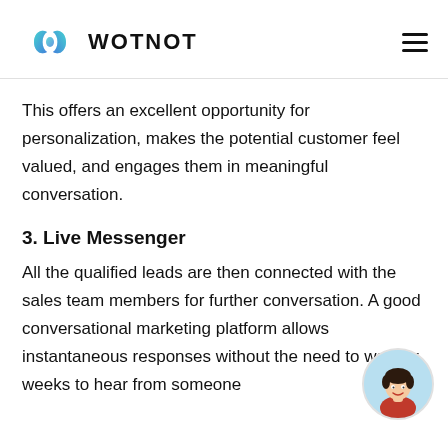WOTNOT
This offers an excellent opportunity for personalization, makes the potential customer feel valued, and engages them in meaningful conversation.
3. Live Messenger
All the qualified leads are then connected with the sales team members for further conversation. A good conversational marketing platform allows instantaneous responses without the need to wait for weeks to hear from someone
[Figure (illustration): Chat avatar icon showing a person with dark hair and red shirt in a circular badge, positioned at bottom right corner]